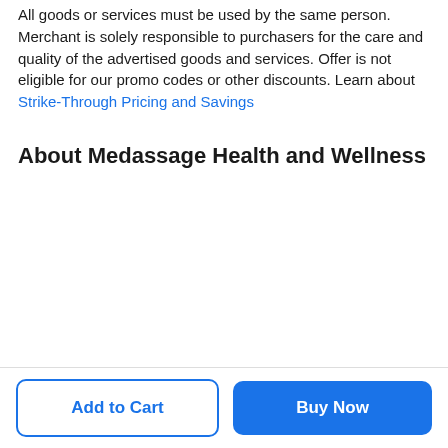All goods or services must be used by the same person. Merchant is solely responsible to purchasers for the care and quality of the advertised goods and services. Offer is not eligible for our promo codes or other discounts. Learn about Strike-Through Pricing and Savings
About Medassage Health and Wellness
Add to Cart
Buy Now